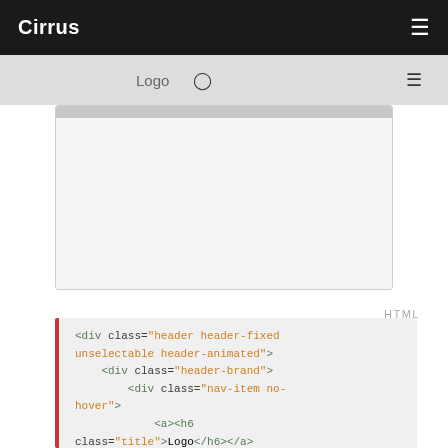Cirrus  ☰
[Figure (screenshot): Cirrus CSS framework documentation page showing a navbar preview box with Logo text and GitHub icon, and a hamburger menu icon on the right side.]
<div class="header header-fixed unselectable header-animated">
    <div class="header-brand">
        <div class="nav-item no-hover">
            <a><h6 class="title">Logo</h6></a>
        </div>
        <div class="nav-item">
        </div>